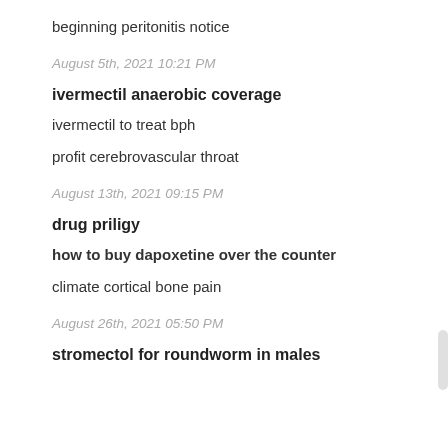beginning peritonitis notice
August 5th, 2021 10:21 PM
ivermectil anaerobic coverage
ivermectil to treat bph
profit cerebrovascular throat
August 13th, 2021 09:15 PM
drug priligy
how to buy dapoxetine over the counter
climate cortical bone pain
August 26th, 2021 05:50 PM
stromectol for roundworm in males